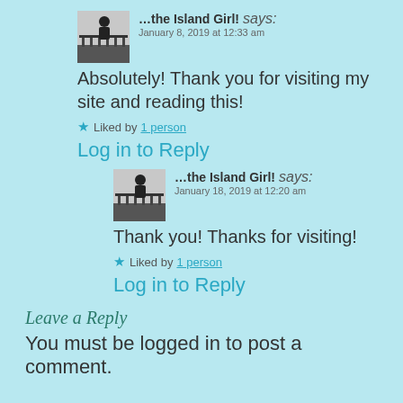…the Island Girl! says: January 8, 2019 at 12:33 am
Absolutely! Thank you for visiting my site and reading this!
★ Liked by 1 person
Log in to Reply
…the Island Girl! says: January 18, 2019 at 12:20 am
Thank you! Thanks for visiting!
★ Liked by 1 person
Log in to Reply
Leave a Reply
You must be logged in to post a comment.